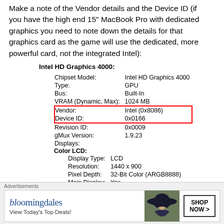Make a note of the Vendor details and the Device ID (if you have the high end 15" MacBook Pro with dedicated graphics you need to note down the details for that graphics card as the game will use the dedicated, more powerful card, not the integrated Intel):
Intel HD Graphics 4000:
| Chipset Model: | Intel HD Graphics 4000 |
| Type: | GPU |
| Bus: | Built-In |
| VRAM (Dynamic, Max): | 1024 MB |
| Vendor: | Intel (0x8086) |
| Device ID: | 0x0166 |
| Revision ID: | 0x0009 |
| gMux Version: | 1.9.23 |
| Displays: |  |
Color LCD:
| Display Type: | LCD |
| Resolution: | 1440 x 900 |
| Pixel Depth: | 32-Bit Color (ARGB8888) |
| Main Display: | Yes |
| Mirror: | Off |
| Online: | Yes |
| Built-In: | Yes |
Advertisements
[Figure (advertisement): Bloomingdale's advertisement banner: 'View Today's Top Deals!' with SHOP NOW > button and woman in hat image]